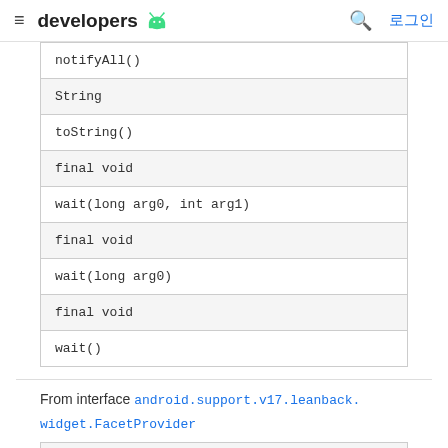≡ developers 🤖  🔍 로그인
| notifyAll() |
| String |
| toString() |
| final void |
| wait(long arg0, int arg1) |
| final void |
| wait(long arg0) |
| final void |
| wait() |
From interface android.support.v17.leanback.widget.FacetProvider
| abstract Object |